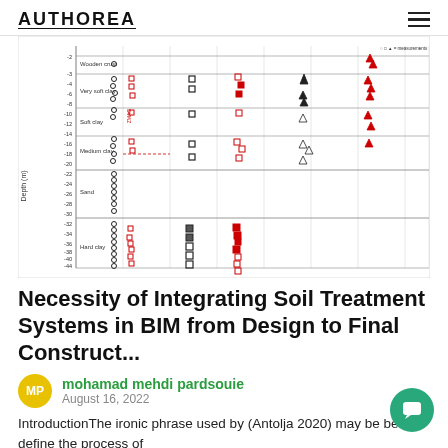AUTHOREA
[Figure (scatter-plot): Scatter plot showing soil profile data with depth (m) on y-axis ranging from approximately -2 to -44m. Soil layers labeled on left: Wooden crust, Very soft clay, Soft clay, Medium clay, Sand, Hard clay. Data points shown as open circles (black), open squares (black), filled squares (black), open squares (red), and filled triangles (red/black) across multiple vertical columns representing different measurement parameters.]
Necessity of Integrating Soil Treatment Systems in BIM from Design to Final Construct...
mohamad mehdi pardsouie
August 16, 2022
IntroductionThe ironic phrase used by (Antolja 2020) may be best to define the process of